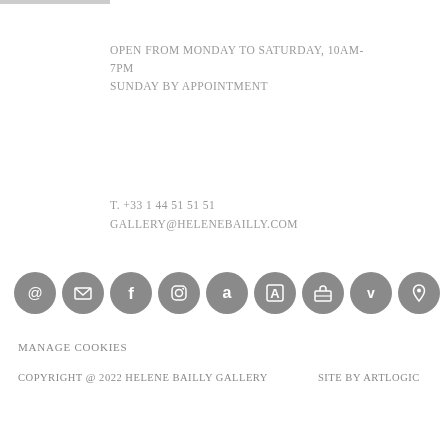OPEN FROM MONDAY TO SATURDAY, 10AM-7PM
SUNDAY BY APPOINTMENT
T. +33 1 44 51 51 51
GALLERY@HELENEBAILLY.COM
[Figure (infographic): Row of 9 circular social media and contact icons in grey: email/at symbol, envelope, Facebook, Instagram, Amazon, artnet, art gallery/briefcase, Vimeo, location pin]
MANAGE COOKIES
COPYRIGHT @ 2022 HELENE BAILLY GALLERY    SITE BY ARTLOGIC